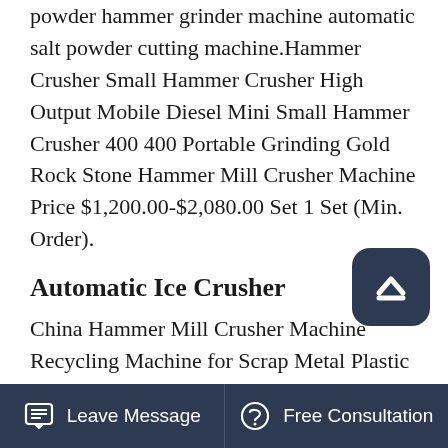powder hammer grinder machine automatic salt powder cutting machine.Hammer Crusher Small Hammer Crusher High Output Mobile Diesel Mini Small Hammer Crusher 400 400 Portable Grinding Gold Rock Stone Hammer Mill Crusher Machine Price $1,200.00-$2,080.00 Set 1 Set (Min. Order).
Automatic Ice Crusher
China Hammer Mill Crusher Machine Recycling Machine for Scrap Metal Plastic Crusher, Find details about China Plastic Crusher, Plastic Shredder from Hammer Mill Crusher Machine Recycling Machine for Scrap Metal Plastic Crusher - Shanghai Junyi Filter Equipment .Metso Fote wheel mobile impact crushing and screening plant is perfect combination of crushing and screening, made of the
Leave Message   Free Consultation